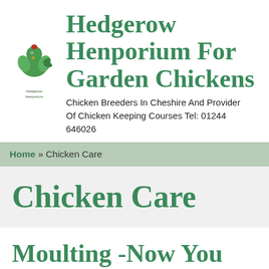[Figure (logo): Green chicken/hen logo with text 'Hedgerow Henporium' below]
Hedgerow Henporium For Garden Chickens
Chicken Breeders In Cheshire And Provider Of Chicken Keeping Courses Tel: 01244 646026
Home » Chicken Care
Chicken Care
Moulting -Now You See